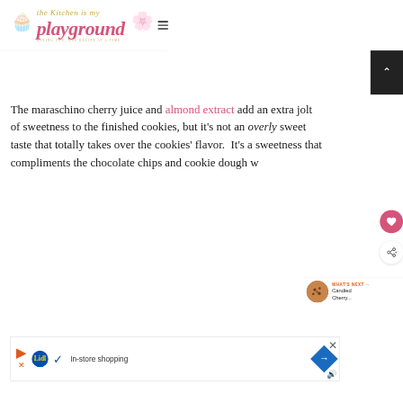The Kitchen is My Playground — HAVING FUN, ONE RECIPE AT A TIME
The maraschino cherry juice and almond extract add an extra jolt of sweetness to the finished cookies, but it's not an overly sweet taste that totally takes over the cookies' flavor.  It's a sweetness that compliments the chocolate chips and cookie dough w...
[Figure (other): Candied Cherry thumbnail for What's Next widget]
WHAT'S NEXT → Candied Cherry...
[Figure (other): Lidl In-store shopping advertisement banner]